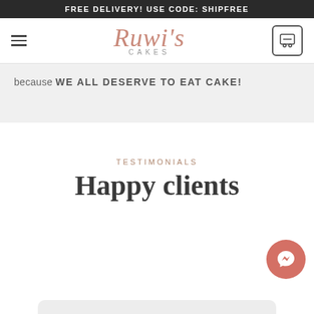FREE DELIVERY! USE CODE: SHIPFREE
[Figure (logo): Ruwi's Cakes logo with script font in rose gold/pink and 'CAKES' in spaced uppercase letters below]
because WE ALL DESERVE TO EAT CAKE!
TESTIMONIALS
Happy clients
[Figure (illustration): Pink/salmon circular Messenger chat button icon in bottom right corner]